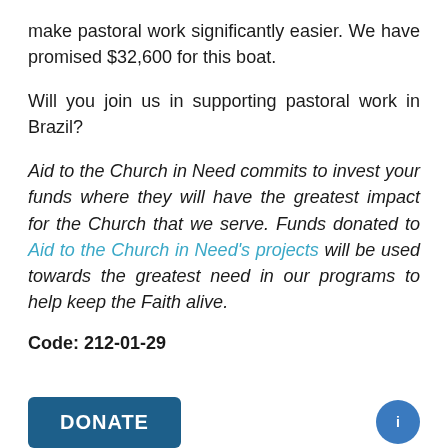make pastoral work significantly easier. We have promised $32,600 for this boat.
Will you join us in supporting pastoral work in Brazil?
Aid to the Church in Need commits to invest your funds where they will have the greatest impact for the Church that we serve. Funds donated to Aid to the Church in Need’s projects will be used towards the greatest need in our programs to help keep the Faith alive.
Code: 212-01-29
DONATE